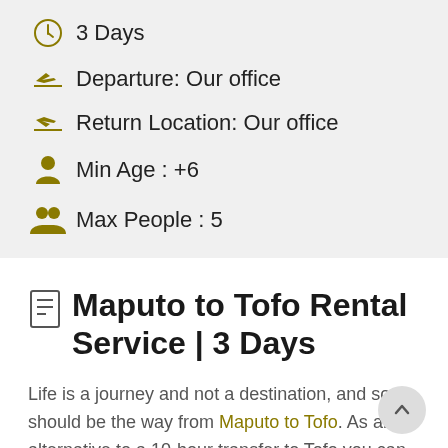3 Days
Departure: Our office
Return Location: Our office
Min Age : +6
Max People : 5
Maputo to Tofo Rental Service | 3 Days
Life is a journey and not a destination, and so should be the way from Maputo to Tofo. As an alternative to a 10-hour transfer to Tofo you can plan a road trip